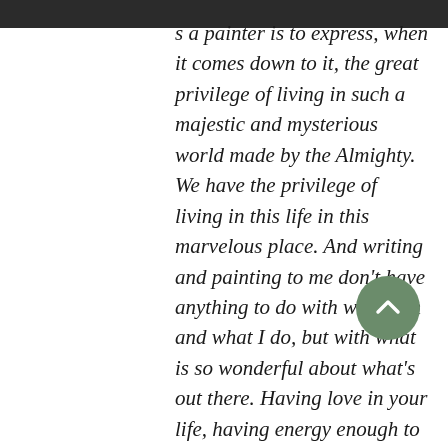s a painter is to express, when it comes down to it, the great privilege of living in such a majestic and mysterious world made by the Almighty. We have the privilege of living in this life in this marvelous place. And writing and painting to me don't have anything to do with who I am and what I do, but with what is so wonderful about what's out there. Having love in your life, having energy enough to pursue a thing with all your